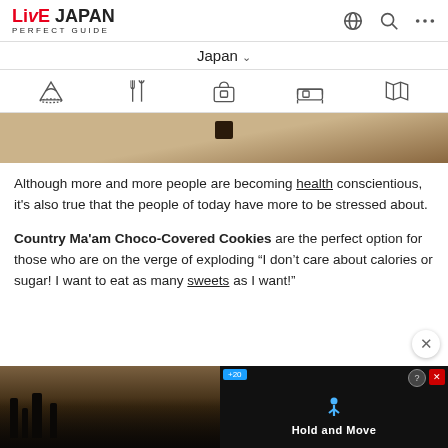LIVE JAPAN PERFECT GUIDE
[Figure (screenshot): Website navigation bar showing Japan dropdown and category icons (sightseeing, food, shopping, accommodation, maps)]
[Figure (photo): Partial hero image showing wooden surface with dark object]
Although more and more people are becoming health conscientious, it's also true that the people of today have more to be stressed about.
Country Ma'am Choco-Covered Cookies are the perfect option for those who are on the verge of exploding "I don't care about calories or sugar! I want to eat as many sweets as I want!"
[Figure (screenshot): Advertisement banner showing Hold and Move app with dark forest background and person icon]